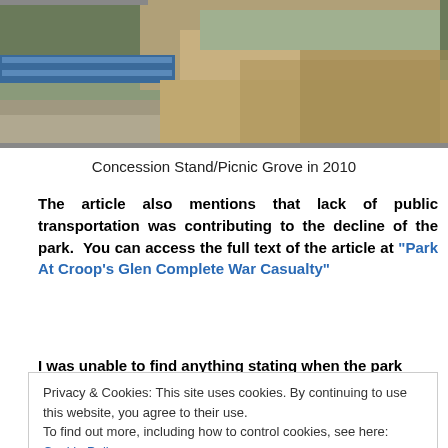[Figure (photo): Partial photo of a concession stand/picnic grove area showing wooden beams, gravel, and railing, partially cropped at top]
Concession Stand/Picnic Grove in 2010
The article also mentions that lack of public transportation was contributing to the decline of the park.  You can access the full text of the article at “Park At Croop’s Glen Complete War Casualty”
I was unable to find anything stating when the park
Privacy & Cookies: This site uses cookies. By continuing to use this website, you agree to their use.
To find out more, including how to control cookies, see here: Cookie Policy
as a skating rink.